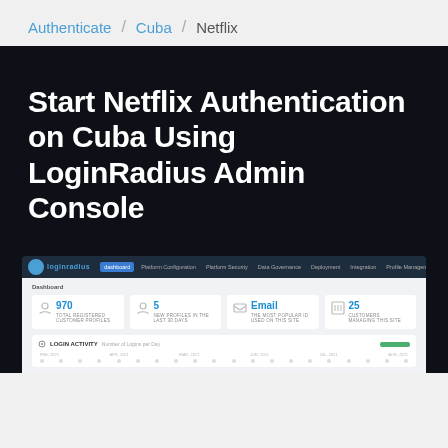Authenticate / Cuba / Netflix
Start Netflix Authentication on Cuba Using LoginRadius Admin Console
[Figure (screenshot): LoginRadius Admin Console dashboard screenshot showing stats: 970 total registered customer profiles, 5 new profiles in the last 30 days, Email as most popular ID used on the site, 25 customers managing the site. A login activity chart is partially visible at the bottom.]